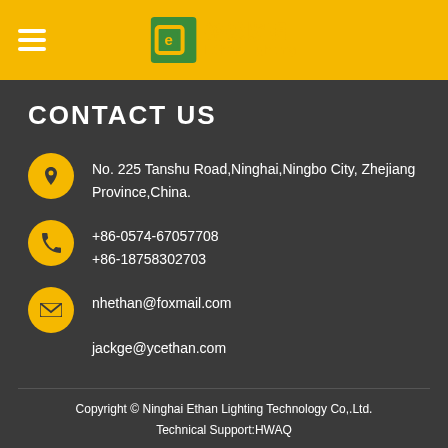Ethan lighting 裕铖照明
CONTACT US
No. 225 Tanshu Road,Ninghai,Ningbo City, Zhejiang Province,China.
+86-0574-67057708
+86-18758302703
nhethan@foxmail.com
jackge@ycethan.com
Copyright © Ninghai Ethan Lighting Technology Co,.Ltd.
Technical Support:HWAQ